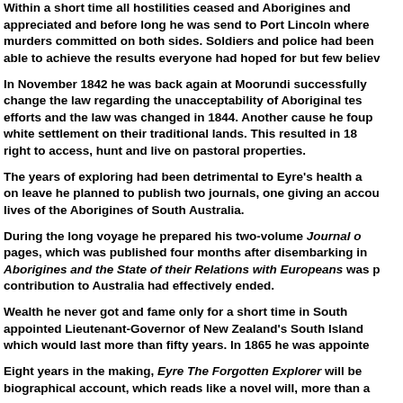Within a short time all hostilities ceased and Aborigines and appreciated and before long he was send to Port Lincoln where murders committed on both sides. Soldiers and police had been able to achieve the results everyone had hoped for but few believed.
In November 1842 he was back again at Moorundi successfully change the law regarding the unacceptability of Aboriginal testimony efforts and the law was changed in 1844. Another cause he fought white settlement on their traditional lands. This resulted in 18 right to access, hunt and live on pastoral properties.
The years of exploring had been detrimental to Eyre's health and on leave he planned to publish two journals, one giving an account lives of the Aborigines of South Australia.
During the long voyage he prepared his two-volume Journal of pages, which was published four months after disembarking in Aborigines and the State of their Relations with Europeans was published. contribution to Australia had effectively ended.
Wealth he never got and fame only for a short time in South appointed Lieutenant-Governor of New Zealand's South Island which would last more than fifty years. In 1865 he was appointed.
Eight years in the making, Eyre The Forgotten Explorer will be biographical account, which reads like a novel will, more than a